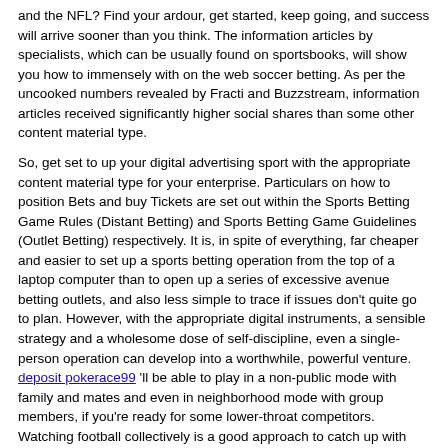and the NFL? Find your ardour, get started, keep going, and success will arrive sooner than you think. The information articles by specialists, which can be usually found on sportsbooks, will show you how to immensely with on the web soccer betting. As per the uncooked numbers revealed by Fracti and Buzzstream, information articles received significantly higher social shares than some other content material type.
So, get set to up your digital advertising sport with the appropriate content material type for your enterprise. Particulars on how to position Bets and buy Tickets are set out within the Sports Betting Game Rules (Distant Betting) and Sports Betting Game Guidelines (Outlet Betting) respectively. It is, in spite of everything, far cheaper and easier to set up a sports betting operation from the top of a laptop computer than to open up a series of excessive avenue betting outlets, and also less simple to trace if issues don't quite go to plan. However, with the appropriate digital instruments, a sensible strategy and a wholesome dose of self-discipline, even a single-person operation can develop into a worthwhile, powerful venture. deposit pokerace99 'll be able to play in a non-public mode with family and mates and even in neighborhood mode with group members, if you're ready for some lower-throat competitors. Watching football collectively is a good approach to catch up with pals and family. Another nice advantage associated with Horse Racing Epsom is the fact that you can earn a lot of money in the method.